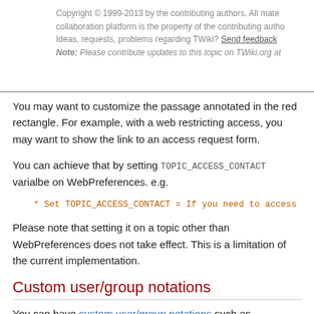Copyright © 1999-2013 by the contributing authors. All material on this collaboration platform is the property of the contributing authors. Ideas, requests, problems regarding TWiki? Send feedback Note: Please contribute updates to this topic on TWiki.org at
You may want to customize the passage annotated in the red rectangle. For example, with a web restricting access, you may want to show the link to an access request form.
You can achieve that by setting TOPIC_ACCESS_CONTACT varialbe on WebPreferences. e.g.
Please note that setting it on a topic other than WebPreferences does not take effect. This is a limitation of the current implementation.
Custom user/group notations
You can have custom user/group notations such as USER:userid and LDAPGROUP:group-name and use them for